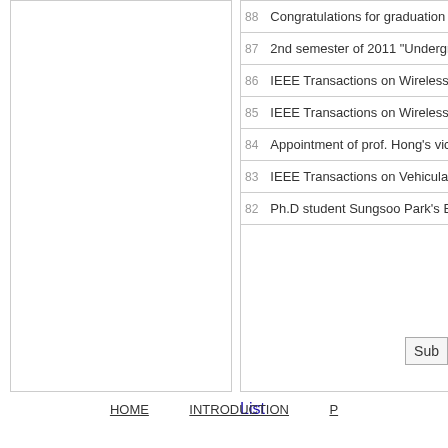| # | Description |
| --- | --- |
| 88 | Congratulations for graduation on A... |
| 87 | 2nd semester of 2011 "Undergradu... |
| 86 | IEEE Transactions on Wireless Co... |
| 85 | IEEE Transactions on Wireless Co... |
| 84 | Appointment of prof. Hong's vice p... |
| 83 | IEEE Transactions on Vehicular Te... |
| 82 | Ph.D student Sungsoo Park's BK2... |
List
Sub
HOME   INTRODUCTION   P...